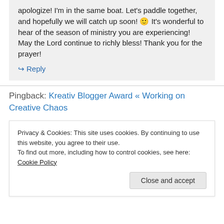apologize! I'm in the same boat. Let's paddle together, and hopefully we will catch up soon! 🙂 It's wonderful to hear of the season of ministry you are experiencing! May the Lord continue to richly bless! Thank you for the prayer!
↪ Reply
Pingback: Kreativ Blogger Award « Working on Creative Chaos
Privacy & Cookies: This site uses cookies. By continuing to use this website, you agree to their use.
To find out more, including how to control cookies, see here: Cookie Policy
Close and accept